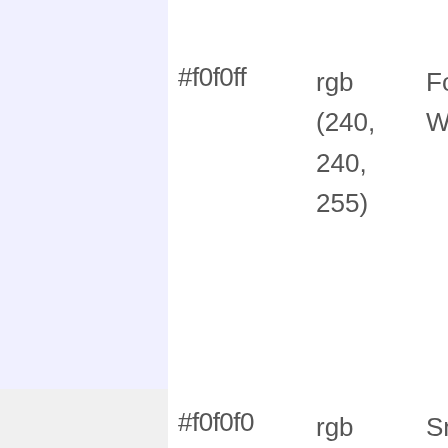| Swatch | Hex | RGB | Name |
| --- | --- | --- | --- |
| [#f0f0ff color swatch] | #f0f0ff | rgb (240, 240, 255) | Foundation White |
| [#f0f0f0 color swatch] | #f0f0f0 | rgb (240, 240, 240) | Snowflake |
| [#787890 color swatch] | #787890 | rgb (120, 120, 144) | Iris Eyes |